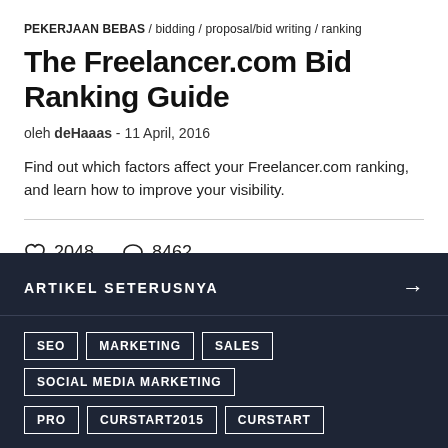PEKERJAAN BEBAS / bidding / proposal/bid writing / ranking
The Freelancer.com Bid Ranking Guide
oleh deHaaas - 11 April, 2016
Find out which factors affect your Freelancer.com ranking, and learn how to improve your visibility.
♡ 2048   💬 8462
ARTIKEL SETERUSNYA →
SEO  MARKETING  SALES  SOCIAL MEDIA MARKETING  PRO  CURSTART2015  CURSTART